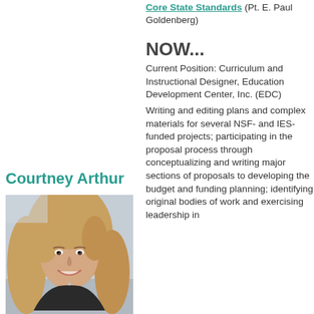Core State Standards (Pt. E. Paul Goldenberg)
NOW...
Current Position: Curriculum and Instructional Designer, Education Development Center, Inc. (EDC)
Writing and editing plans and complex materials for several NSF- and IES- funded projects; participating in the proposal process through conceptualizing and writing major sections of proposals to developing the budget and funding planning; identifying original bodies of work and exercising leadership in
Courtney Arthur
[Figure (photo): Headshot photo of Courtney Arthur, a woman with long blonde hair, smiling, wearing a dark top]